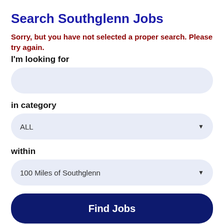Search Southglenn Jobs
Sorry, but you have not selected a proper search. Please try again.
I'm looking for
in category
ALL
within
100 Miles of Southglenn
Find Jobs
Browse Southglenn Jobs by Industry
Southglenn Accounting Jobs (55 jobs)